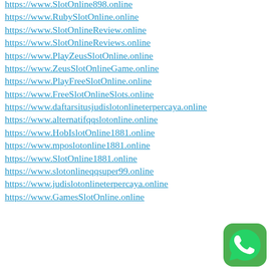https://www.SlotOnline898.online
https://www.RubySlotOnline.online
https://www.SlotOnlineReview.online
https://www.SlotOnlineReviews.online
https://www.PlayZeusSlotOnline.online
https://www.ZeusSlotOnlineGame.online
https://www.PlayFreeSlotOnline.online
https://www.FreeSlotOnlineSlots.online
https://www.daftarsitusjudislotonlineterpercaya.online
https://www.alternatifqqslotonline.online
https://www.HobIslotOnline1881.online
https://www.mposlotonline1881.online
https://www.SlotOnline1881.online
https://www.slotonlineqqsuper99.online
https://www.judislotonlineterpercaya.online
https://www.GamesSlotOnline.online
[Figure (logo): WhatsApp green circular icon with white phone handset symbol]